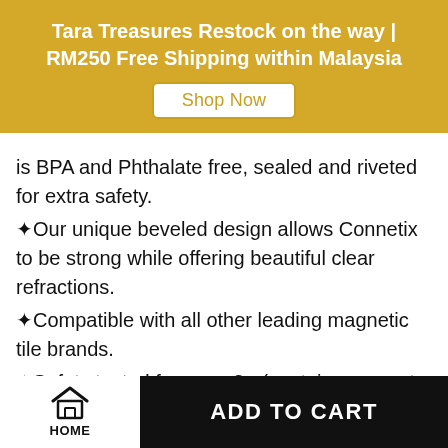Tara Treasures Restock on the way | RM250 Free Shipping within Malaysia
is BPA and Phthalate free, sealed and riveted for extra safety.
✦Our unique beveled design allows Connetix to be strong while offering beautiful clear refractions.
✦Compatible with all other leading magnetic tile brands.
✦Safety tested for ages 3+ (contains magnets and small parts)
HOME | ADD TO CART